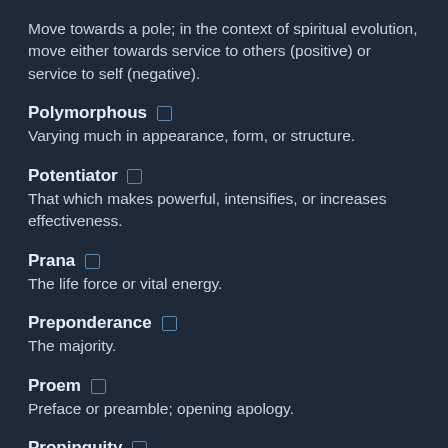Move towards a pole; in the context of spiritual evolution, move either towards service to others (positive) or service to self (negative).
Polymorphous
Varying much in appearance, form, or structure.
Potentiator
That which makes powerful, intensifies, or increases effectiveness.
Prana
The life force or vital energy.
Preponderance
The majority.
Proem
Preface or preamble; opening apology.
Propinquity
Proximity.